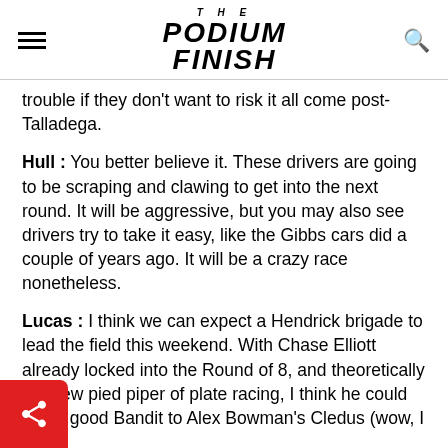THE PODIUM FINISH
trouble if they don't want to risk it all come post-Talladega.
Hull : You better believe it. These drivers are going to be scraping and clawing to get into the next round. It will be aggressive, but you may also see drivers try to take it easy, like the Gibbs cars did a couple of years ago. It will be a crazy race nonetheless.
Lucas :  I think we can expect a Hendrick brigade to lead the field this weekend. With Chase Elliott already locked into the Round of 8, and theoretically the new pied piper of plate racing, I think he could ake a good Bandit to Alex Bowman's Cledus (wow, I